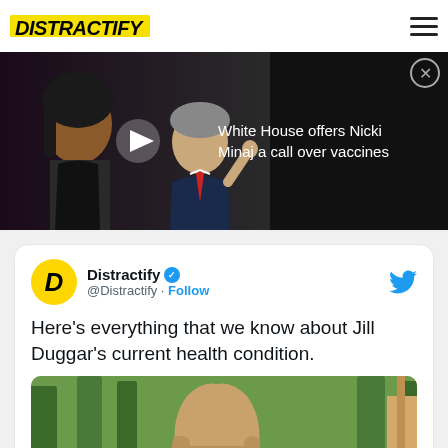Distractify
[Figure (screenshot): Video banner showing Nicki Minaj and Dr. Fauci with text 'White House offers Nicki Minaj a call over vaccines']
[Figure (screenshot): Embedded tweet from @Distractify with text: Here's everything that we know about Jill Duggar's current health condition. Includes photo of Jill Duggar smiling outdoors.]